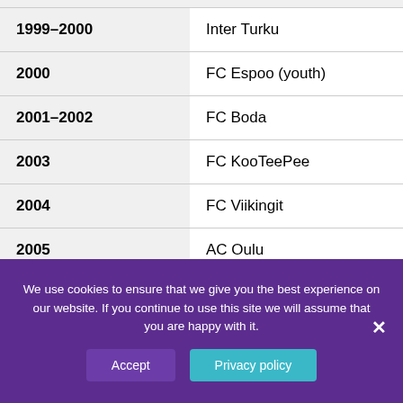| Year | Club |
| --- | --- |
| 1999–2000 | Inter Turku |
| 2000 | FC Espoo (youth) |
| 2001–2002 | FC Boda |
| 2003 | FC KooTeePee |
| 2004 | FC Viikingit |
| 2005 | AC Oulu |
| 2006 | KPV |
| 2006 | FC Raahe |
We use cookies to ensure that we give you the best experience on our website. If you continue to use this site we will assume that you are happy with it.